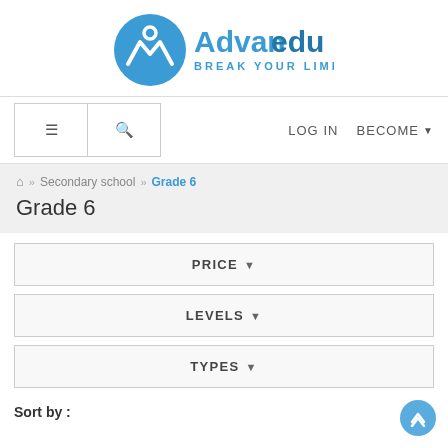[Figure (logo): Advanedu logo — blue circle with mountain/person icon, text 'Advanedu' in blue with tagline 'BREAK YOUR LIMIT']
≡  🔍  LOG IN  BECOME ▾
🏠 » Secondary school » Grade 6
Grade 6
PRICE ▾
LEVELS ▾
TYPES ▾
Sort by :